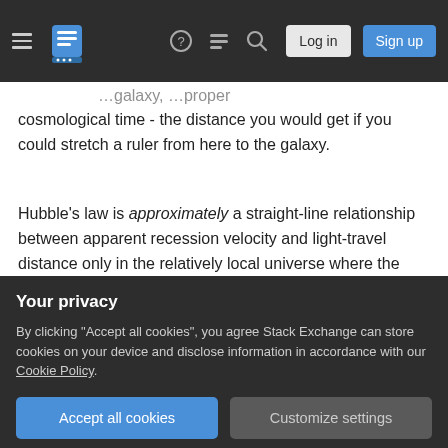Stack Exchange navigation bar with hamburger menu, logo, help, chat, search icons, Log in and Sign up buttons
cosmological time - the distance you would get if you could stretch a ruler from here to the galaxy.
Hubble's law is approximately a straight-line relationship between apparent recession velocity and light-travel distance only in the relatively local universe where the effects you rightly point out in your question can be safely ignored.
In terms of how we know that a galaxy is "still moving" at the same rate - we don't and we have no
Your privacy
By clicking "Accept all cookies", you agree Stack Exchange can store cookies on your device and disclose information in accordance with our Cookie Policy.
cosmic time.